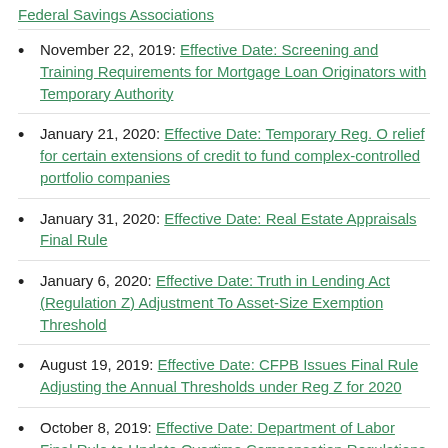Federal Savings Associations
November 22, 2019: Effective Date: Screening and Training Requirements for Mortgage Loan Originators with Temporary Authority
January 21, 2020: Effective Date: Temporary Reg. O relief for certain extensions of credit to fund complex-controlled portfolio companies
January 31, 2020: Effective Date: Real Estate Appraisals Final Rule
January 6, 2020: Effective Date: Truth in Lending Act (Regulation Z) Adjustment To Asset-Size Exemption Threshold
August 19, 2019: Effective Date: CFPB Issues Final Rule Adjusting the Annual Thresholds under Reg Z for 2020
October 8, 2019: Effective Date: Department of Labor Final Rule to Update Overtime Compensation Regulations